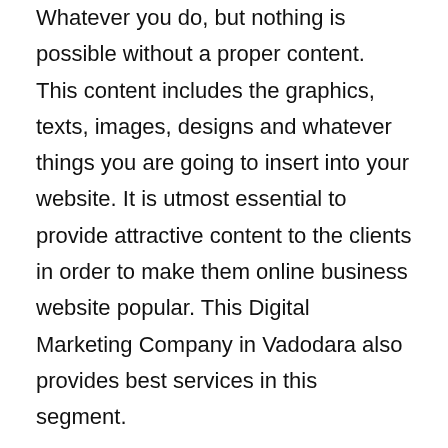Whatever you do, but nothing is possible without a proper content. This content includes the graphics, texts, images, designs and whatever things you are going to insert into your website. It is utmost essential to provide attractive content to the clients in order to make them online business website popular. This Digital Marketing Company in Vadodara also provides best services in this segment.
Social Media Marketing
Handling Social Media pages and accounts seem to be a troublesome task for you? Why don't you hand over this task to the well-efficient Social Media Marketers of Digital IT Products? They will surely help you gain a